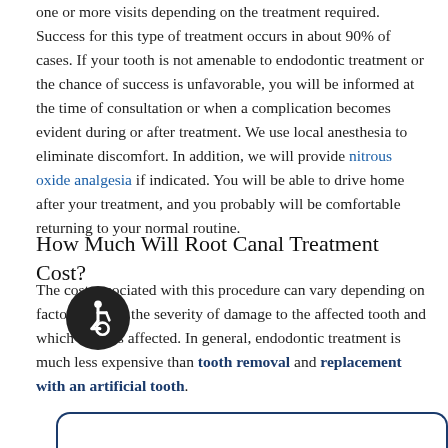one or more visits depending on the treatment required. Success for this type of treatment occurs in about 90% of cases. If your tooth is not amenable to endodontic treatment or the chance of success is unfavorable, you will be informed at the time of consultation or when a complication becomes evident during or after treatment. We use local anesthesia to eliminate discomfort. In addition, we will provide nitrous oxide analgesia if indicated. You will be able to drive home after your treatment, and you probably will be comfortable returning to your normal routine.
How Much Will Root Canal Treatment Cost?
The cost associated with this procedure can vary depending on factors such as the severity of damage to the affected tooth and which tooth is affected. In general, endodontic treatment is much less expensive than tooth removal and replacement with an artificial tooth.
[Figure (other): Accessibility icon button (wheelchair symbol) in a dark circular button, and a partial rounded rectangle border at the bottom of the page.]